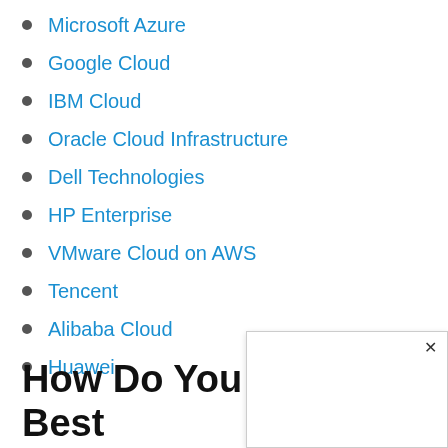Microsoft Azure
Google Cloud
IBM Cloud
Oracle Cloud Infrastructure
Dell Technologies
HP Enterprise
VMware Cloud on AWS
Tencent
Alibaba Cloud
Huawei
How Do You Select the Best Clou